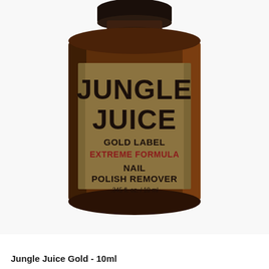[Figure (photo): A small amber glass bottle with a kraft/tan paper label reading 'JUNGLE JUICE GOLD LABEL EXTREME FORMULA NAIL POLISH REMOVER .345 fl. oz. / 10 ml'. The bottle has a dark cap and sits against a white background.]
Jungle Juice Gold - 10ml